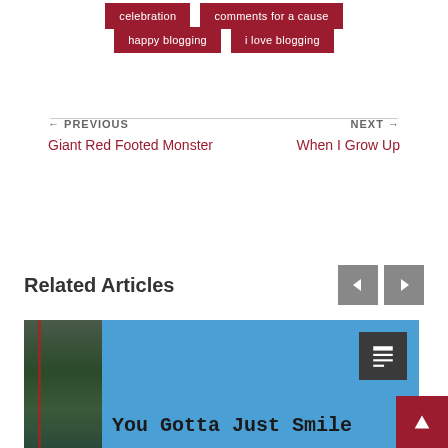celebration
comments for a cause
happy blogging
i love blogging
← PREVIOUS
Giant Red Footed Monster
NEXT →
When I Grow Up
Related Articles
[Figure (photo): Blog article card thumbnail showing a dark outdoor photo on the left and a blue background with the headline 'You Gotta Just Smile' in typewriter font, with a dark article-type icon in upper right]
You Gotta Just Smile